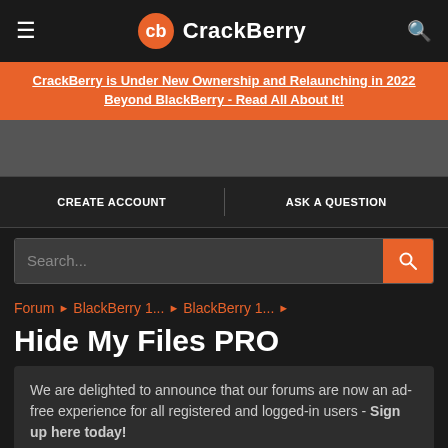CrackBerry
CrackBerry is Under New Ownership and Relaunching in 2022 Beyond BlackBerry - Read All About It!
CREATE ACCOUNT    ASK A QUESTION
Search...
Forum › BlackBerry 1... › BlackBerry 1... ›
Hide My Files PRO
We are delighted to announce that our forums are now an ad-free experience for all registered and logged-in users - Sign up here today!